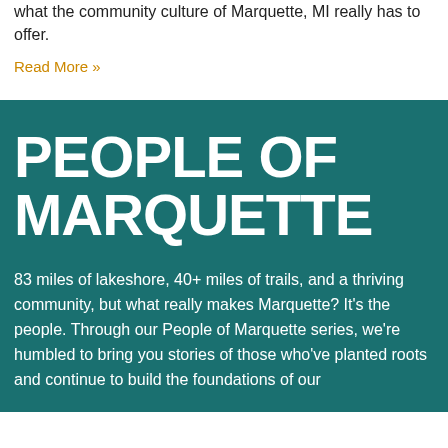what the community culture of Marquette, MI really has to offer.
Read More »
PEOPLE OF MARQUETTE
83 miles of lakeshore, 40+ miles of trails, and a thriving community, but what really makes Marquette? It's the people. Through our People of Marquette series, we're humbled to bring you stories of those who've planted roots and continue to build the foundations of our